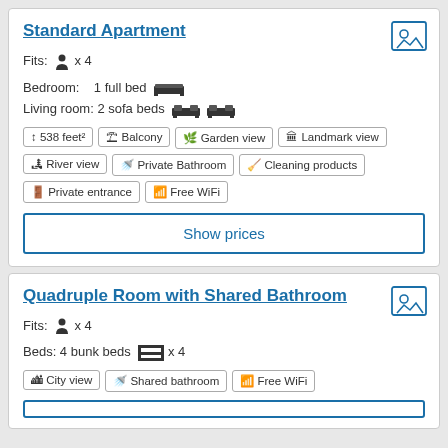Standard Apartment
Fits: person x 4
Bedroom: 1 full bed | Living room: 2 sofa beds
538 feet²
Balcony
Garden view
Landmark view
River view
Private Bathroom
Cleaning products
Private entrance
Free WiFi
Show prices
Quadruple Room with Shared Bathroom
Fits: person x 4
Beds: 4 bunk beds x 4
City view
Shared bathroom
Free WiFi